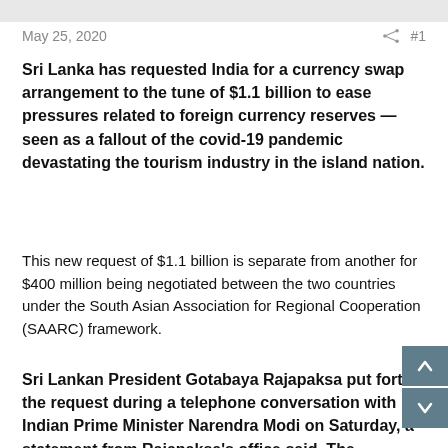May 25, 2020  #1
Sri Lanka has requested India for a currency swap arrangement to the tune of $1.1 billion to ease pressures related to foreign currency reserves — seen as a fallout of the covid-19 pandemic devastating the tourism industry in the island nation.
This new request of $1.1 billion is separate from another for $400 million being negotiated between the two countries under the South Asian Association for Regional Cooperation (SAARC) framework.
Sri Lankan President Gotabaya Rajapaksa put forth the request during a telephone conversation with Indian Prime Minister Narendra Modi on Saturday, a statement from Rajapaksa's office said. The conversation was described as "very constructive and cordial."